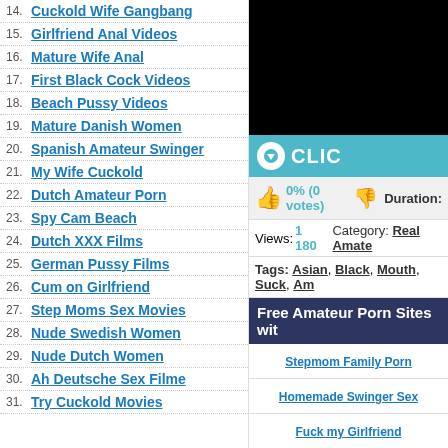14. Cuckold Wife Gangbang
15. Girlfriend Anal Videos
16. Mature Wife Anal
17. First Black Cock Videos
18. Beach Pussy Videos
19. Mature Danish Women
20. Spanish Amateur Swinger
21. My Wife Cuckold
22. Dutch Amateur Porn
23. Spy Cam Beach
24. Dutch XXX Films
25. German Pussy Films
26. Cum on Girlfriend
27. Step Moms Sex Movies
28. Nude Swedish Women
29. Nude Dutch Women
30. Ah Deutsche Sex Filme
31. Try Cuckold Movies
[Figure (screenshot): Black video player area]
CLIC
0% (0 votes)
Duration:
Views: 1 180   Category: Real Amate
Tags: Asian, Black, Mouth, Suck, Am
Free Amateur Porn Sites wit
Stepmom Family Porn
Homemade Swinger Sex
Fuck my Girlfriend